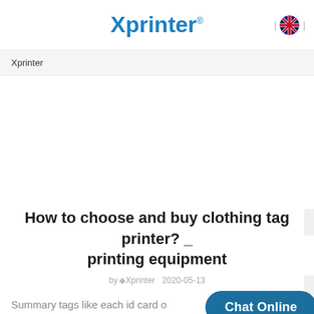Xprinter®
Xprinter
How to choose and buy clothing tag printer? _ printing equipment
by Xprinter   2020-05-13
Summary tags like each id card of printer is used to implement the tags to print the special